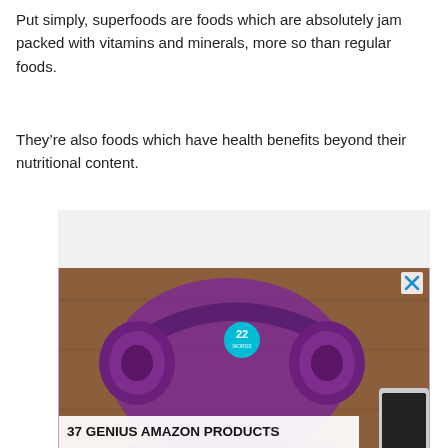Put simply, superfoods are foods which are absolutely jam packed with vitamins and minerals, more so than regular foods.
They’re also foods which have health benefits beyond their nutritional content.
[Figure (photo): Advertisement banner showing purple headphones on a wooden surface with a teal channel badge showing '22' and overlay text reading '37 GENIUS AMAZON PRODUCTS THAT CAN BE USED BY ANYONE']